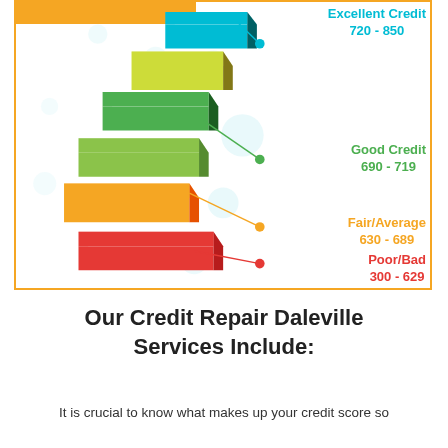[Figure (infographic): 3D staircase credit score infographic showing credit score ranges: Excellent Credit 720-850 (teal/cyan), Good Credit 690-719 (green), Fair/Average 630-689 (orange/yellow), Poor/Bad 300-629 (red). Steps spiral in a C-shape with connector lines and dots to labels on the right.]
Our Credit Repair Daleville Services Include:
It is crucial to know what makes up your credit score so